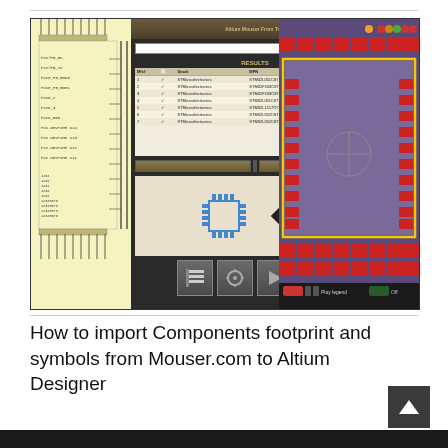[Figure (screenshot): Screenshot of Altium Designer with a component search dialog (showing RESULTS table with part numbers and footprints), a yellow PCB schematic panel on the left, and a purple PCB layout view on the right with red pads and a yellow boundary rectangle.]
How to import Components footprint and symbols from Mouser.com to Altium Designer